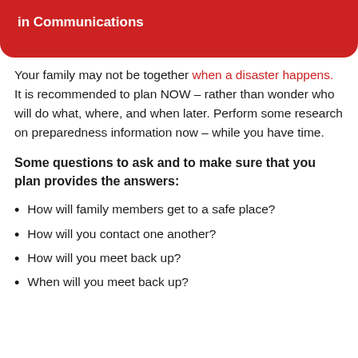in Communications
Your family may not be together when a disaster happens. It is recommended to plan NOW – rather than wonder who will do what, where, and when later. Perform some research on preparedness information now – while you have time.
Some questions to ask and to make sure that you plan provides the answers:
How will family members get to a safe place?
How will you contact one another?
How will you meet back up?
When will you meet back up?